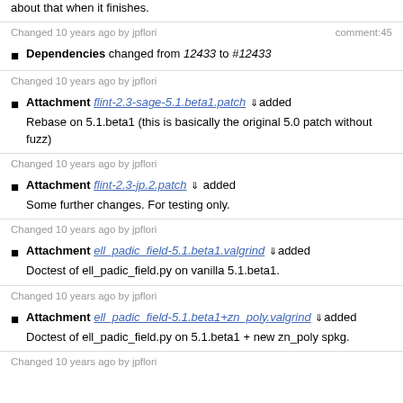about that when it finishes.
Changed 10 years ago by jpflori    comment:45
Dependencies changed from 12433 to #12433
Changed 10 years ago by jpflori
Attachment flint-2.3-sage-5.1.beta1.patch added
Rebase on 5.1.beta1 (this is basically the original 5.0 patch without fuzz)
Changed 10 years ago by jpflori
Attachment flint-2.3-jp.2.patch added
Some further changes. For testing only.
Changed 10 years ago by jpflori
Attachment ell_padic_field-5.1.beta1.valgrind added
Doctest of ell_padic_field.py on vanilla 5.1.beta1.
Changed 10 years ago by jpflori
Attachment ell_padic_field-5.1.beta1+zn_poly.valgrind added
Doctest of ell_padic_field.py on 5.1.beta1 + new zn_poly spkg.
Changed 10 years ago by jpflori